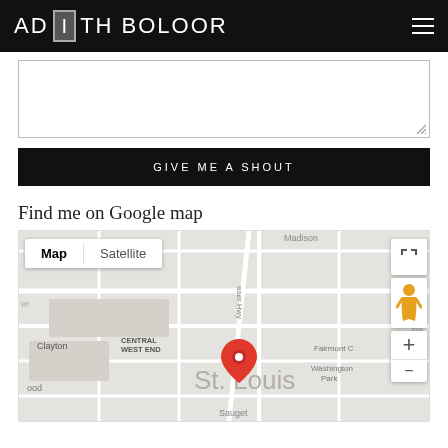AD I TH BOLOOR
[Figure (screenshot): Textarea input field, partially visible, with resize handle at bottom right]
GIVE ME A SHOUT
Find me on Google map
[Figure (map): Google Maps screenshot showing St. Louis area with a red pin marker, Map/Satellite toggle buttons, Clayton and Central West End labels, Washington Park, Fairmont, Sauget labels, zoom controls and street view person icon on the right]